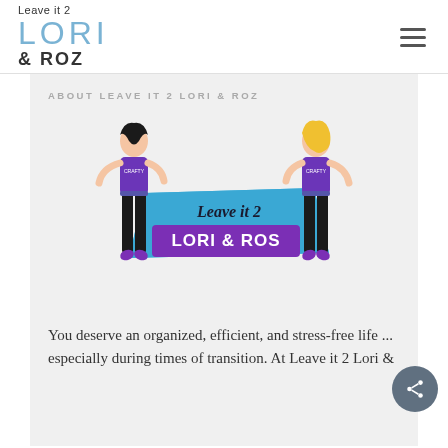Leave it 2 LORI & ROZ
ABOUT LEAVE IT 2 LORI & ROZ
[Figure (illustration): Two illustrated women holding a banner that reads 'Leave it 2 LORI & ROZ'. One woman has dark hair wearing a purple shirt and black pants, the other has blonde hair wearing a purple shirt and black pants.]
You deserve an organized, efficient, and stress-free life ... especially during times of transition. At Leave it 2 Lori &